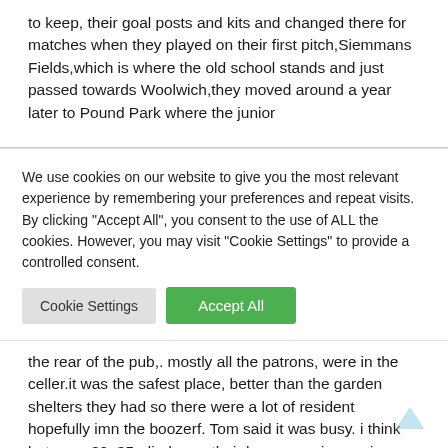to keep, their goal posts and kits and changed there for matches when they played on their first pitch,Siemmans Fields,which is where the old school stands and just passed towards Woolwich,they moved around a year later to Pound Park where the junior
We use cookies on our website to give you the most relevant experience by remembering your preferences and repeat visits. By clicking "Accept All", you consent to the use of ALL the cookies. However, you may visit "Cookie Settings" to provide a controlled consent.
the rear of the pub,. mostly all the patrons, were in the celler.it was the safest place, better than the garden shelters they had so there were a lot of resident hopefully imn the boozerf. Tom said it was busy. i think between 30, 35, died near their houses so in passing and you hear an old Blues man playin and singin that